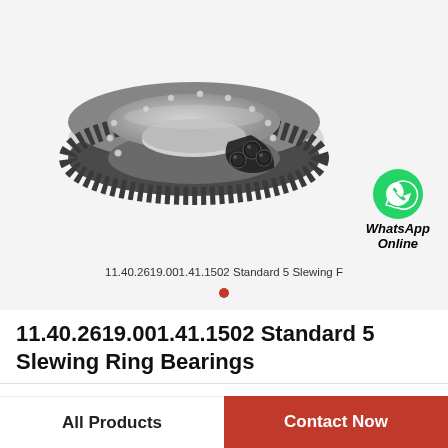[Figure (photo): 3D rendered image of a slewing ring bearing (11.40.2619.001.41.1502 Standard 5) showing a large circular ring bearing with gear teeth on the outer edge and ball bearings visible through a cutout section, in metallic grey/silver finish]
[Figure (logo): WhatsApp icon (green speech bubble with phone handset) with text 'WhatsApp Online' in italic bold black font next to it]
11.40.2619.001.41.1502 Standard 5 Slewing F
11.40.2619.001.41.1502 Standard 5 Slewing Ring Bearings
All Products | Contact Now